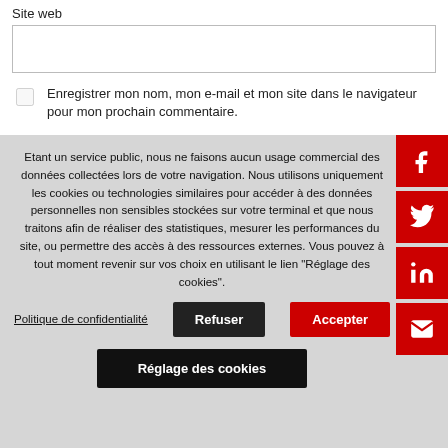Site web
Enregistrer mon nom, mon e-mail et mon site dans le navigateur pour mon prochain commentaire.
Etant un service public, nous ne faisons aucun usage commercial des données collectées lors de votre navigation. Nous utilisons uniquement les cookies ou technologies similaires pour accéder à des données personnelles non sensibles stockées sur votre terminal et que nous traitons afin de réaliser des statistiques, mesurer les performances du site, ou permettre des accès à des ressources externes. Vous pouvez à tout moment revenir sur vos choix en utilisant le lien "Réglage des cookies".
Politique de confidentialité
Refuser
Accepter
Réglage des cookies